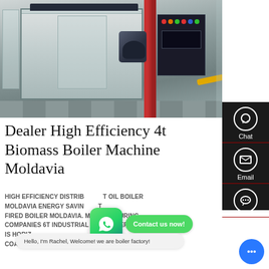[Figure (photo): Industrial biomass/gas boiler machine in a factory setting with control panel, red pipe, and yellow gas pipe.]
Dealer High Efficiency 4t Biomass Boiler Machine Moldavia
HIGH EFFICIENCY DISTRIBUTOR OIL BOILER MOLDAVIA ENERGY SAVING FIRE TUBE COAL FIRED BOILER MOLDAVIA. MANUFACTURING COMPANIES 6T INDUSTRIAL BOILER NEPAL. THIS SERIES IS HORIZONTAL COAL FIRED STEAM BOILER THE STEAM CAPACITY 30T/T THE STEAM PRESSURE IS 0.7-2.5MPA THE